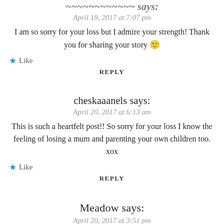[author name cut off] says:
April 19, 2017 at 7:07 pm
I am so sorry for your loss but I admire your strength! Thank you for sharing your story 🙂
Like
REPLY
cheskaaanels says:
April 20, 2017 at 6:13 am
This is such a heartfelt post!! So sorry for your loss I know the feeling of losing a mum and parenting your own children too. xox
Like
REPLY
Meadow says:
April 20, 2017 at 3:51 pm